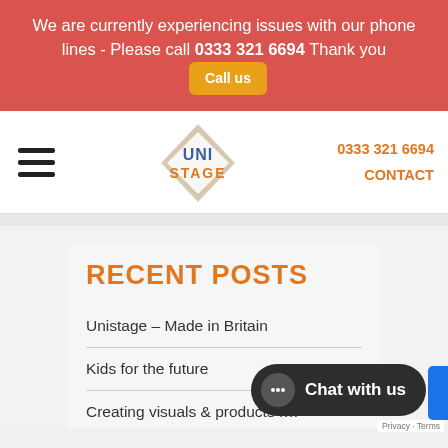We are currently experiencing issues with our phone lines - Please call 0333 321 6694 Thank you [Call us]
[Figure (logo): Unistage logo — diamond shape with UNI STAGE text]
0333 321 6694
CONTACT
RECENT POSTS
Unistage – Made in Britain
Kids for the future
Creating visuals & products f…
[Figure (screenshot): Chat with us widget — dark rounded button with chat bubble icon]